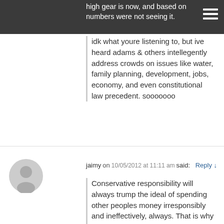high gear is now, and based on numbers were not seeing it.
idk what youre listening to, but ive heard adams & others intellegently address crowds on issues like water, family planning, development, jobs, economy, and even constitutional law precedent. sooooooo
jaimy on 10/05/2012 at 11:11 am said: Reply
Conservative responsibility will always trump the ideal of spending other peoples money irresponsibly and ineffectively, always. That is why Jason will hold his office, in a time when our country,and even yet our world is plagued with wasteful abuses of